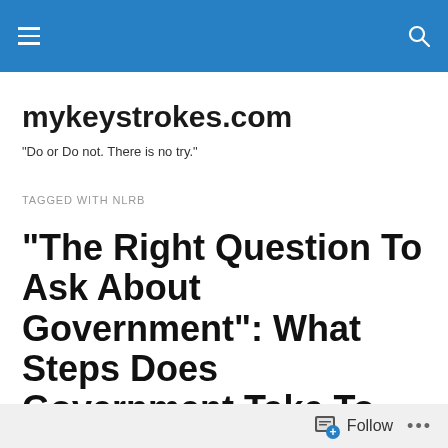mykeystrokes.com — top navigation bar
mykeystrokes.com
"Do or Do not. There is no try."
TAGGED WITH NLRB
“The Right Question To Ask About Government”: What Steps Does Government Take To Empower Citizens And Expand Their Rights?
Follow